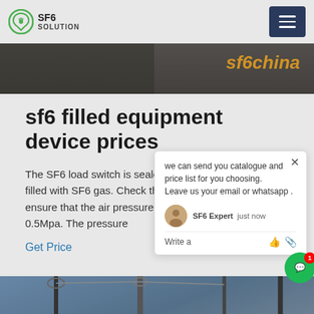SF6 SOLUTION
[Figure (photo): Dark industrial/electrical image strip with orange text overlay reading 'sf6china']
sf6 filled equipment device prices
The SF6 load switch is sealed in a c... filled with SF6 gas. Check the SF6 b... ensure that the air pressure is b... 0.5Mpa. The pressure
Get Price
[Figure (screenshot): Chat popup widget with message: 'we can send you catalogue and price list for you choosing. Leave us your email or whatsapp.' SF6 Expert, just now. Write a message area with like and attachment icons.]
[Figure (photo): Bottom image strip showing electrical power line infrastructure against a blue sky]